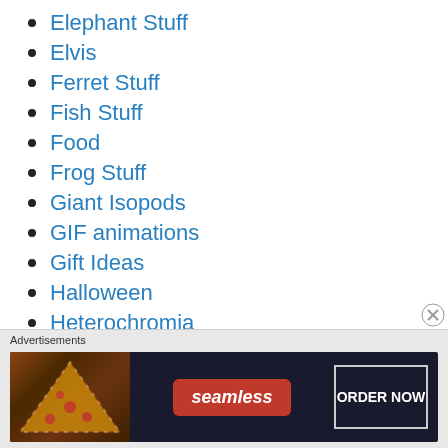Elephant Stuff
Elvis
Ferret Stuff
Fish Stuff
Food
Frog Stuff
Giant Isopods
GIF animations
Gift Ideas
Halloween
Heterochromia
History
Holidays
[Figure (screenshot): Seamless food ordering advertisement banner with pizza image, red Seamless logo, and ORDER NOW button on dark background]